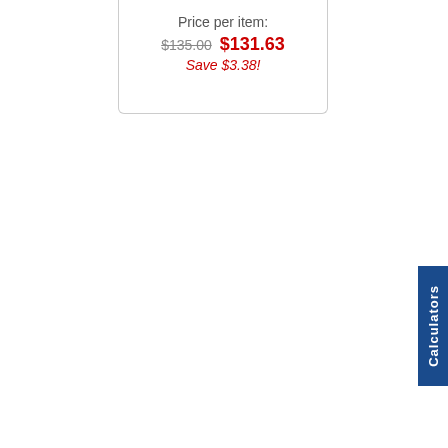Price per item: $135.00  $131.63  Save $3.38!
Calculators